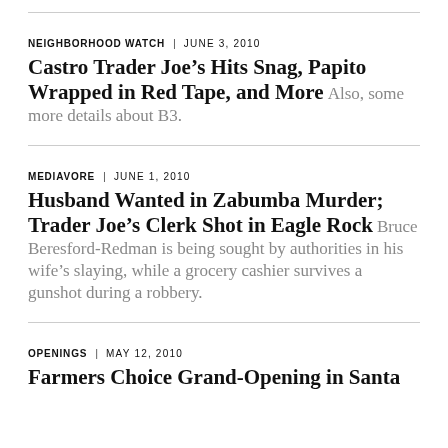NEIGHBORHOOD WATCH | JUNE 3, 2010
Castro Trader Joe's Hits Snag, Papito Wrapped in Red Tape, and More Also, some more details about B3.
MEDIAVORE | JUNE 1, 2010
Husband Wanted in Zabumba Murder; Trader Joe's Clerk Shot in Eagle Rock Bruce Beresford-Redman is being sought by authorities in his wife's slaying, while a grocery cashier survives a gunshot during a robbery.
OPENINGS | MAY 12, 2010
Farmers Choice Grand-Opening in Santa